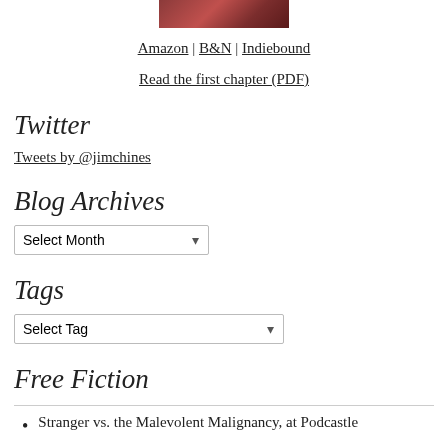[Figure (photo): Book cover image, dark red tones]
Amazon | B&N | Indiebound
Read the first chapter (PDF)
Twitter
Tweets by @jimchines
Blog Archives
Select Month (dropdown)
Tags
Select Tag (dropdown)
Free Fiction
Stranger vs. the Malevolent Malignancy, at Podcastle
The Creature in Your Neighborhood at Apex Magazine